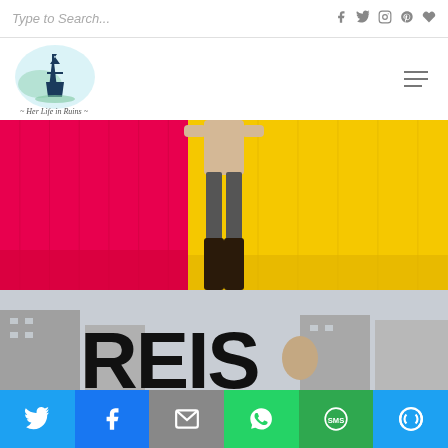Type to Search...
[Figure (logo): Her Life in Ruins blog logo with Eiffel Tower watercolor illustration and script text]
[Figure (photo): Person wearing beige sweater and dark jeans with tall dark boots, standing in front of a half pink, half yellow colorful wall]
[Figure (photo): Person holding large black block letters outdoors on a city street with buildings in the background]
Share buttons: Twitter, Facebook, Email, WhatsApp, SMS, More